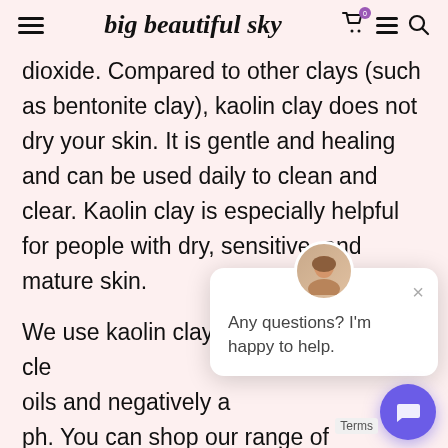big beautiful sky
dioxide. Compared to other clays (such as bentonite clay), kaolin clay does not dry your skin. It is gentle and healing and can be used daily to clean and clear. Kaolin clay is especially helpful for people with dry, sensitive, and mature skin.
We use kaolin clay c... instead of harsh cle... oils and negatively a... ph. You can shop our range of Australian kaolin clay here.
[Figure (screenshot): Chat widget popup with avatar of a woman, close button (×), and text 'Any questions? I'm happy to help.' Below is a purple circular chat button and a 'Terms' label.]